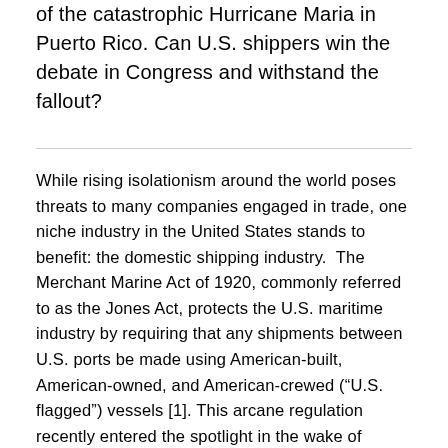of the catastrophic Hurricane Maria in Puerto Rico. Can U.S. shippers win the debate in Congress and withstand the fallout?
While rising isolationism around the world poses threats to many companies engaged in trade, one niche industry in the United States stands to benefit: the domestic shipping industry.  The Merchant Marine Act of 1920, commonly referred to as the Jones Act, protects the U.S. maritime industry by requiring that any shipments between U.S. ports be made using American-built, American-owned, and American-crewed (“U.S. flagged”) vessels [1]. This arcane regulation recently entered the spotlight in the wake of Hurricane Maria which devastated Puerto Rico in September 2017.  Many politicians, economists, and pundits have the Jones Act for limiting the